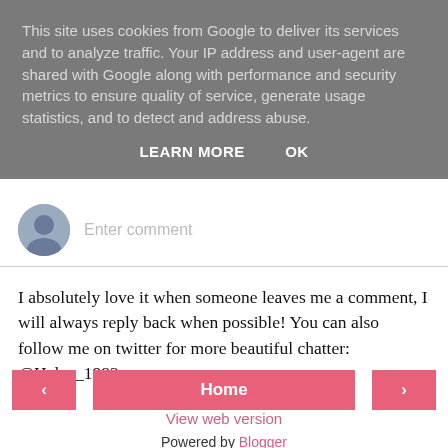This site uses cookies from Google to deliver its services and to analyze traffic. Your IP address and user-agent are shared with Google along with performance and security metrics to ensure quality of service, generate usage statistics, and to detect and address abuse.
LEARN MORE   OK
[Figure (other): Avatar circle icon representing anonymous user, with Enter comment placeholder text input field below]
I absolutely love it when someone leaves me a comment, I will always reply back when possible! You can also follow me on twitter for more beautiful chatter: @Helsy_1983
‹   Home   ›
View web version
Powered by Blogger